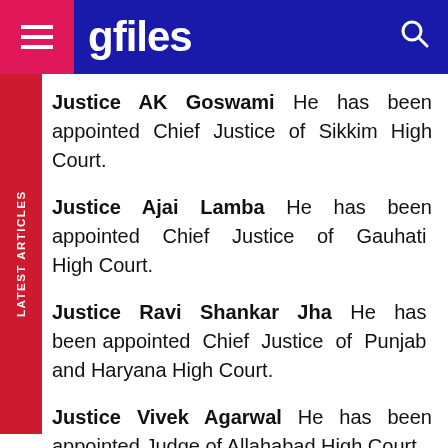gfiles
Justice AK Goswami He has been appointed Chief Justice of Sikkim High Court.
Justice Ajai Lamba He has been appointed Chief Justice of Gauhati High Court.
Justice Ravi Shankar Jha He has been appointed Chief Justice of Punjab and Haryana High Court.
Justice Vivek Agarwal He has been appointed Judge of Allahabad High Court.
Justice Biswanath Somadder He has